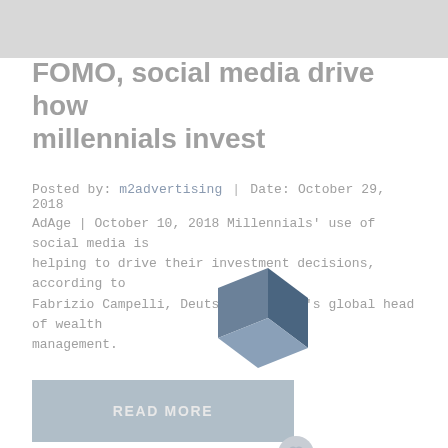[Figure (other): Gray banner image at top of page]
FOMO, social media drive how millennials invest
Posted by: m2advertising  |  Date: October 29, 2018
AdAge | October 10, 2018 Millennials' use of social media is helping to drive their investment decisions, according to Fabrizio Campelli, Deutsche Bank AG's global head of wealth management.
[Figure (logo): 3D geometric logo shape in steel blue/slate color, resembling a folded polygon or arrow shape]
READ MORE
Comments are off for this post   0